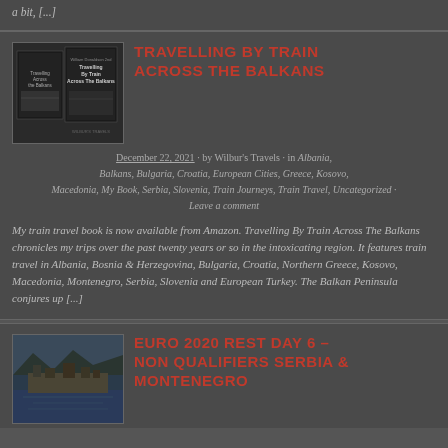a bit, [...]
[Figure (photo): Book cover image for Travelling By Train Across The Balkans]
TRAVELLING BY TRAIN ACROSS THE BALKANS
December 22, 2021 · by Wilbur's Travels · in Albania, Balkans, Bulgaria, Croatia, European Cities, Greece, Kosovo, Macedonia, My Book, Serbia, Slovenia, Train Journeys, Train Travel, Uncategorized · Leave a comment
My train travel book is now available from Amazon. Travelling By Train Across The Balkans chronicles my trips over the past twenty years or so in the intoxicating region. It features train travel in Albania, Bosnia & Herzegovina, Bulgaria, Croatia, Northern Greece, Kosovo, Macedonia, Montenegro, Serbia, Slovenia and European Turkey. The Balkan Peninsula conjures up [...]
[Figure (photo): Aerial photo of a coastal town in Montenegro or Balkans region showing bay and mountains]
EURO 2020 REST DAY 6 – NON QUALIFIERS SERBIA & MONTENEGRO